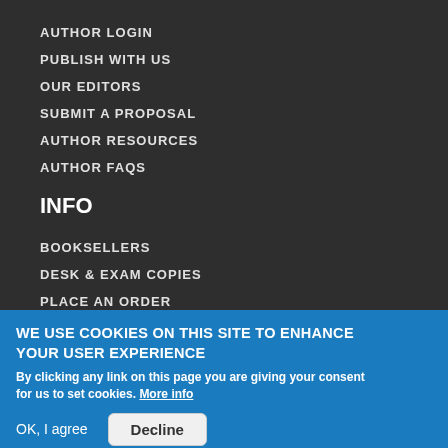AUTHOR LOGIN
PUBLISH WITH US
OUR EDITORS
SUBMIT A PROPOSAL
AUTHOR RESOURCES
AUTHOR FAQS
INFO
BOOKSELLERS
DESK & EXAM COPIES
PLACE AN ORDER
WE USE COOKIES ON THIS SITE TO ENHANCE YOUR USER EXPERIENCE
By clicking any link on this page you are giving your consent for us to set cookies. More info
OK, I agree  Decline